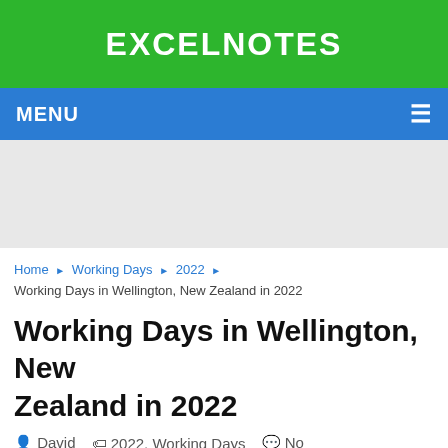EXCELNOTES
MENU
[Figure (other): Advertisement/empty gray area]
Home ▶ Working Days ▶ 2022 ▶
Working Days in Wellington, New Zealand in 2022
Working Days in Wellington, New Zealand in 2022
David  2022, Working Days  No